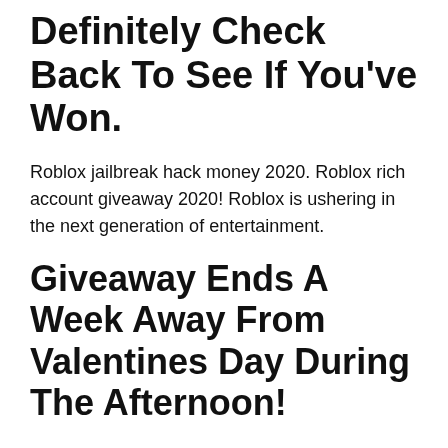Definitely Check Back To See If You've Won.
Roblox jailbreak hack money 2020. Roblox rich account giveaway 2020! Roblox is ushering in the next generation of entertainment.
Giveaway Ends A Week Away From Valentines Day During The Afternoon!
Roblox account 5 5k robux 4k rap important to read description logo 700 00 picclick free roblox accounts 2020 with robux generator passwords slg 2020. Theres a winner guys